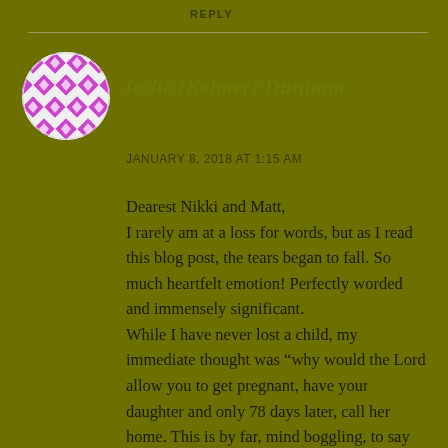REPLY
[Figure (illustration): Circular avatar with pink and white geometric/quilt pattern on olive green background]
leslie (Kelmer) Dunham
JANUARY 8, 2018 AT 1:15 AM
Dearest Nikki and Matt,
I rarely am at a loss for words, but as I read this blog post, the tears began to fall. So much heartfelt emotion! Perfectly worded and immensely significant.
While I have never lost a child, my immediate thought was “why would the Lord allow you to get pregnant, have your daughter and only 78 days later, call her home. This is by far, mind boggling, to say the least.